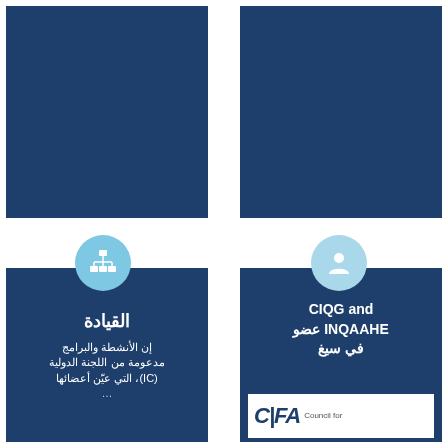[Figure (illustration): Dark blue rectangle placeholder image, top left]
[Figure (illustration): Dark blue rectangle placeholder image, top right]
[Figure (infographic): Bottom left card with network/hierarchy icon circle and Arabic text about القيادة (Leadership) and activities supported by international committee IC]
[Figure (infographic): Bottom right card with person icon circle and Arabic/English text: CIQG and INQAAHE عضو في سيغ, with CIFA Council for logo at bottom]